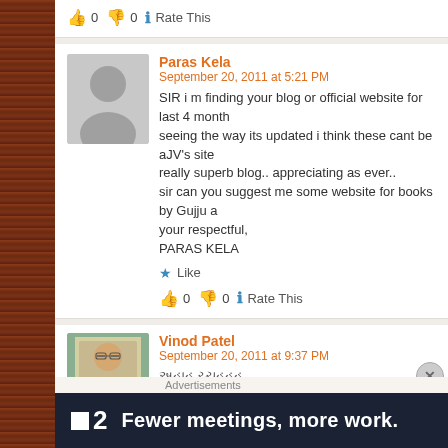[Figure (screenshot): Blog comment section showing user comments with avatars, rating buttons, and an advertisement banner at the bottom.]
👍 0 👎 0 ℹ Rate This
Paras Kela
September 20, 2011 at 5:21 PM
SIR i m finding your blog or official website for last 4 months seeing the way its updated i think these cant be aJV's site really superb blog.. appreciating as ever.. sir can you suggest me some website for books by Gujju a your respectful, PARAS KELA
★ Like
👍 0 👎 0 ℹ Rate This
Vinod Patel
September 20, 2011 at 9:37 PM
અહાહ ચ્ચહહહ ,
Advertisements
[Figure (screenshot): Advertisement banner: dark navy background with logo '■2' and text 'Fewer meetings, more work.']